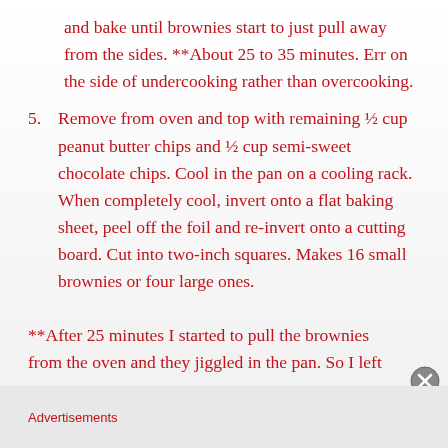and bake until brownies start to just pull away from the sides. **About 25 to 35 minutes. Err on the side of undercooking rather than overcooking.
5. Remove from oven and top with remaining ½ cup peanut butter chips and ½ cup semi-sweet chocolate chips. Cool in the pan on a cooling rack. When completely cool, invert onto a flat baking sheet, peel off the foil and re-invert onto a cutting board. Cut into two-inch squares. Makes 16 small brownies or four large ones.
**After 25 minutes I started to pull the brownies from the oven and they jiggled in the pan. So I left
Advertisements